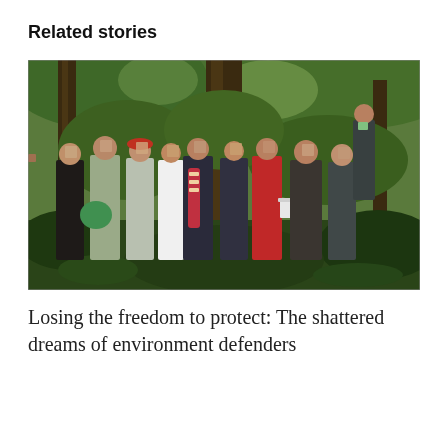Related stories
[Figure (photo): Group of people standing in a jungle/forest setting with trees and lush green vegetation. Faces are blurred/pixelated for anonymity. The individuals appear to be holding various items including what looks like a decorated tube/instrument and a bucket.]
Losing the freedom to protect: The shattered dreams of environment defenders